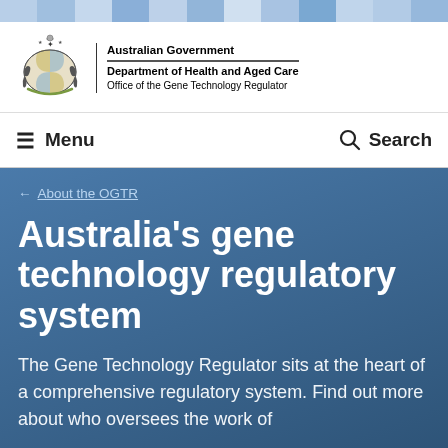[Figure (logo): Australian Government coat of arms with kangaroo and emu, alongside text: Australian Government, Department of Health and Aged Care, Office of the Gene Technology Regulator]
Australian Government
Department of Health and Aged Care
Office of the Gene Technology Regulator
≡ Menu    🔍 Search
← About the OGTR
Australia's gene technology regulatory system
The Gene Technology Regulator sits at the heart of a comprehensive regulatory system. Find out more about who oversees the work of